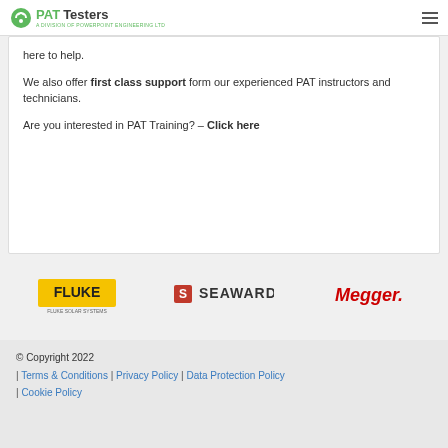PAT Testers — A Division of Powerpoint Engineering Ltd
here to help.

We also offer first class support form our experienced PAT instructors and technicians.

Are you interested in PAT Training? – Click here
[Figure (logo): Fluke brand logo — yellow rectangle with FLUKE text in bold, subtitle text below]
[Figure (logo): Seaward brand logo — red icon with SEAWARD text in bold caps]
[Figure (logo): Megger brand logo — red bold italic Megger. text]
© Copyright 2022 | Terms & Conditions | Privacy Policy | Data Protection Policy | Cookie Policy